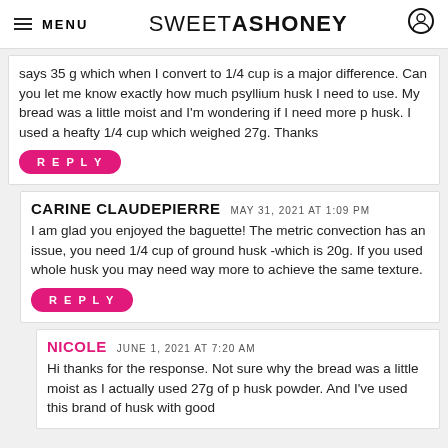MENU | SWEETASHONEY
says 35 g which when I convert to 1/4 cup is a major difference. Can you let me know exactly how much psyllium husk I need to use. My bread was a little moist and I'm wondering if I need more p husk. I used a heafty 1/4 cup which weighed 27g. Thanks
REPLY
CARINE CLAUDEPIERRE — MAY 31, 2021 AT 1:09 PM
I am glad you enjoyed the baguette! The metric convection has an issue, you need 1/4 cup of ground husk -which is 20g. If you used whole husk you may need way more to achieve the same texture.
REPLY
NICOLE — JUNE 1, 2021 AT 7:20 AM
Hi thanks for the response. Not sure why the bread was a little moist as I actually used 27g of p husk powder. And I've used this brand of husk with good